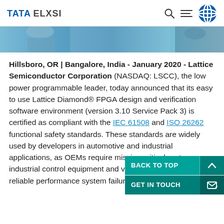TATA ELXSI
[Figure (photo): Cropped photo banner showing a person, partially visible, in blue tones]
Hillsboro, OR | Bangalore, India - January 2020 - Lattice Semiconductor Corporation (NASDAQ: LSCC), the low power programmable leader, today announced that its easy to use Lattice Diamond® FPGA design and verification software environment (version 3.10 Service Pack 3) is certified as compliant with the IEC 61508 and ISO 26262 functional safety standards. These standards are widely used by developers in automotive and industrial applications, as OEMs require mission-critical systems using industrial control equipment and vehicles to deliver highly reliable performance system failures.